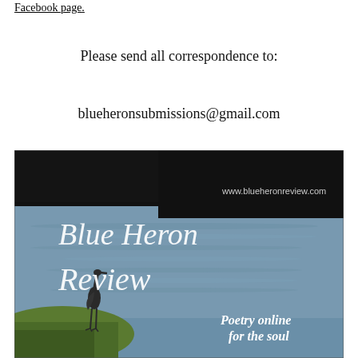Facebook page.
Please send all correspondence to:
blueheronsubmissions@gmail.com
[Figure (illustration): Blue Heron Review magazine cover image showing a heron bird standing near water with text 'Blue Heron Review', 'www.blueheronreview.com', and 'Poetry online for the soul']